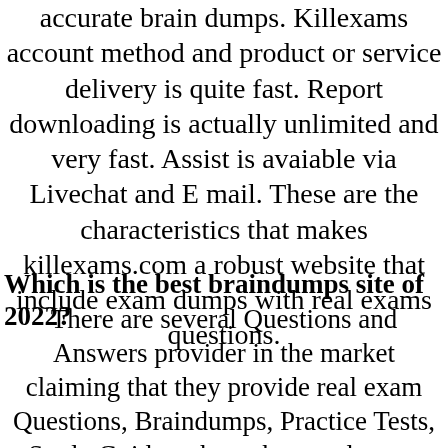accurate brain dumps. Killexams account method and product or service delivery is quite fast. Report downloading is actually unlimited and very fast. Assist is avaiable via Livechat and E mail. These are the characteristics that makes killexams.com a robust website that include exam dumps with real exams questions.
Which is the best braindumps site of 2022?
There are several Questions and Answers provider in the market claiming that they provide real exam Questions, Braindumps, Practice Tests, Study Guides, cheat sheet and many other names, but most of them are re-